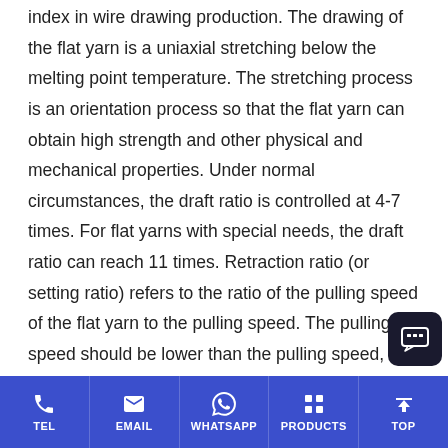index in wire drawing production. The drawing of the flat yarn is a uniaxial stretching below the melting point temperature. The stretching process is an orientation process so that the flat yarn can obtain high strength and other physical and mechanical properties. Under normal circumstances, the draft ratio is controlled at 4-7 times. For flat yarns with special needs, the draft ratio can reach 11 times. Retraction ratio (or setting ratio) refers to the ratio of the pulling speed of the flat yarn to the pulling speed. The pulling speed should be lower than the pulling speed, so as to re-heat the flat wire to set a retraction amount, so that the internal stress of the flat wire is eliminated, and a strong tensile force and excellent elongation can be
[Figure (other): Chat support widget button in bottom-right corner]
TEL  EMAIL  WHATSAPP  PRODUCTS  TOP